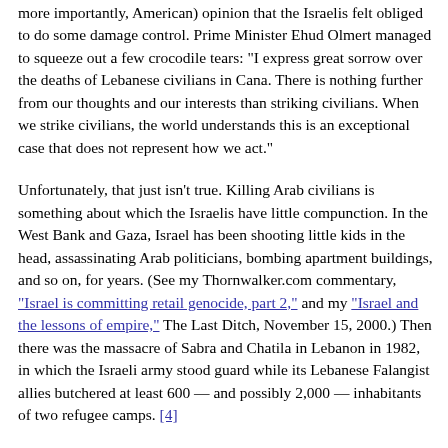more importantly, American) opinion that the Israelis felt obliged to do some damage control. Prime Minister Ehud Olmert managed to squeeze out a few crocodile tears: "I express great sorrow over the deaths of Lebanese civilians in Cana. There is nothing further from our thoughts and our interests than striking civilians. When we strike civilians, the world understands this is an exceptional case that does not represent how we act."
Unfortunately, that just isn't true. Killing Arab civilians is something about which the Israelis have little compunction. In the West Bank and Gaza, Israel has been shooting little kids in the head, assassinating Arab politicians, bombing apartment buildings, and so on, for years. (See my Thornwalker.com commentary, "Israel is committing retail genocide, part 2," and my "Israel and the lessons of empire," The Last Ditch, November 15, 2000.) Then there was the massacre of Sabra and Chatila in Lebanon in 1982, in which the Israeli army stood guard while its Lebanese Falangist allies butchered at least 600 — and possibly 2,000 — inhabitants of two refugee camps. [4]
The Israeli state has perpetrated a series of massacres of Arab civilians, going back to the state's founding in 1948 — and before, if one counts the activities of such terrorist Israel-precursor organizations as the Haganah, Irgun, and Stern Gang. In 1948 the Stern Gang and Irgun, under future prime minister Menachem